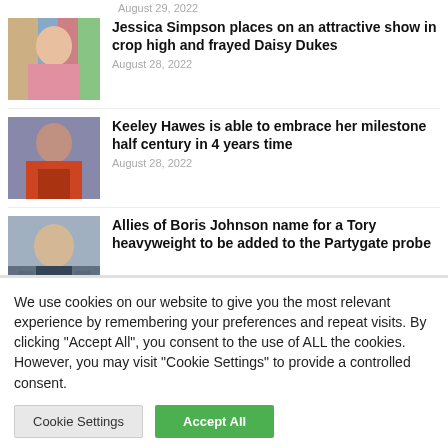August 29, 2022
Jessica Simpson places on an attractive show in crop high and frayed Daisy Dukes | August 28, 2022
Keeley Hawes is able to embrace her milestone half century in 4 years time | August 28, 2022
Allies of Boris Johnson name for a Tory heavyweight to be added to the Partygate probe
We use cookies on our website to give you the most relevant experience by remembering your preferences and repeat visits. By clicking "Accept All", you consent to the use of ALL the cookies. However, you may visit "Cookie Settings" to provide a controlled consent.